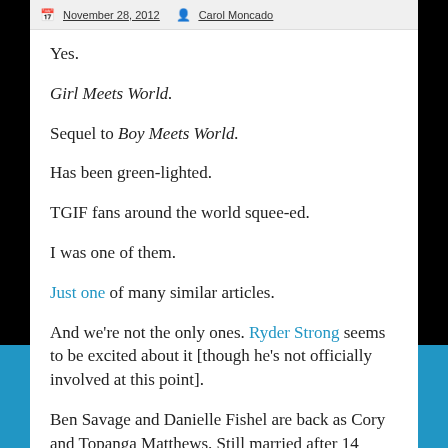November 28, 2012   Carol Moncado
Yes.
Girl Meets World.
Sequel to Boy Meets World.
Has been green-lighted.
TGIF fans around the world squee-ed.
I was one of them.
Just one of many similar articles.
And we're not the only ones. Ryder Strong seems to be excited about it [though he's not officially involved at this point].
Ben Savage and Danielle Fishel are back as Cory and Topanga Matthews. Still married after 14 years [Thank God! A bitter divorce between